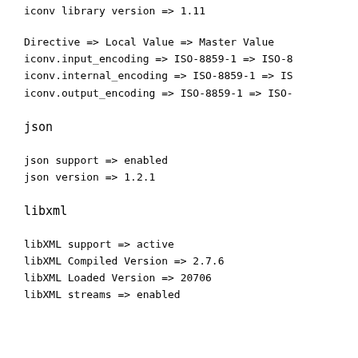iconv library version => 1.11
Directive => Local Value => Master Value
iconv.input_encoding => ISO-8859-1 => ISO-8859-1
iconv.internal_encoding => ISO-8859-1 => ISO-8859-1
iconv.output_encoding => ISO-8859-1 => ISO-8859-1
json
json support => enabled
json version => 1.2.1
libxml
libXML support => active
libXML Compiled Version => 2.7.6
libXML Loaded Version => 20706
libXML streams => enabled